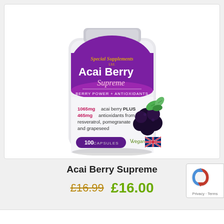[Figure (photo): Product image of Acai Berry Supreme supplement bottle — white bottle with purple label showing 'Acai Berry Supreme', 'Berry Power + Antioxidants', '1065mg acai berry PLUS 465mg antioxidants from resveratrol, pomegranate and grapeseed', '100 Capsules', Vegan and British Quality logos, with acai berries and mint leaves graphic.]
Acai Berry Supreme
£16.99  £16.00